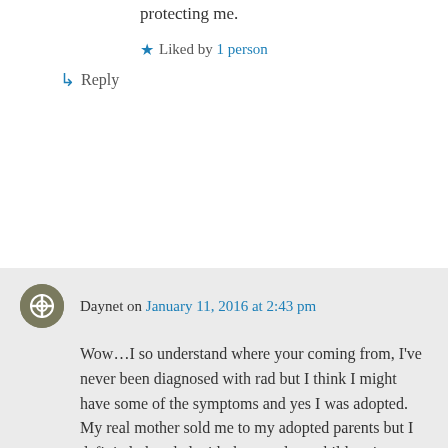protecting me.
★ Liked by 1 person
↳ Reply
Daynet on January 11, 2016 at 2:43 pm
Wow…I so understand where your coming from, I've never been diagnosed with rad but I think I might have some of the symptoms and yes I was adopted. My real mother sold me to my adopted parents but I definitely bonded with them and my children it came natural to me..I just have always had problems trusting other people except a few friends and family members